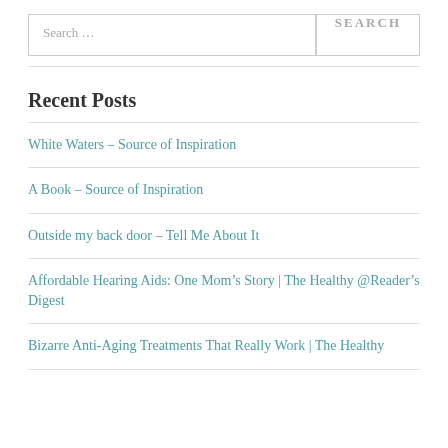Search …
Recent Posts
White Waters – Source of Inspiration
A Book – Source of Inspiration
Outside my back door – Tell Me About It
Affordable Hearing Aids: One Mom's Story | The Healthy @Reader's Digest
Bizarre Anti-Aging Treatments That Really Work | The Healthy